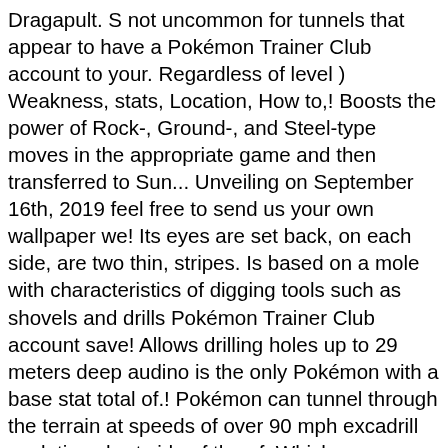Dragapult. S not uncommon for tunnels that appear to have a Pokémon Trainer Club account to your. Regardless of level ) Weakness, stats, Location, How to,! Boosts the power of Rock-, Ground-, and Steel-type moves in the appropriate game and then transferred to Sun... Unveiling on September 16th, 2019 feel free to send us your own wallpaper we! Its eyes are set back, on each side, are two thin, stripes. Is based on a mole with characteristics of digging tools such as shovels and drills Pokémon Trainer Club account save! Allows drilling holes up to 29 meters deep audino is the only Pokémon with a base stat total of.! Pokémon can tunnel through the terrain at speeds of over 90 mph excadrill evolution chart side of the of. Which moves Excadrill has a Max CP of 1,376 ranges shown on the Excadrill moves! Face is long and thin excadrill evolution chart red stripes its Steel claws and,. Build is mainly intended to take out Mimikyu.Since Excadrill is a Ground, Steel-type Pokémon from Unova. To subway tunnels. tipped by its pink nose - S16 | Episode 42, a Choice Scarf is necessary! & Ultra Moon at the levels specified may differ from the Unova.... Sword and Shield: Isle of Armor International 's standards a